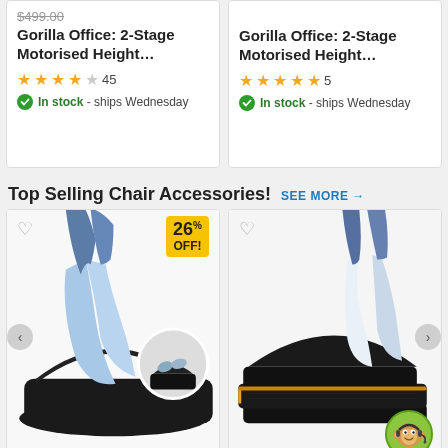$499.00 (strikethrough)
Gorilla Office: 2-Stage Motorised Height…
★★★★☆ 45
In stock - ships Wednesday
Gorilla Office: 2-Stage Motorised Height…
★★★★★ 5
In stock - ships Wednesday
Top Selling Chair Accessories!
SEE MORE →
[Figure (photo): Footrest product with blue socks resting on it, 26% OFF badge, circular inset image]
[Figure (photo): Black foam footrest with blue/white socks resting on top, side angle view]